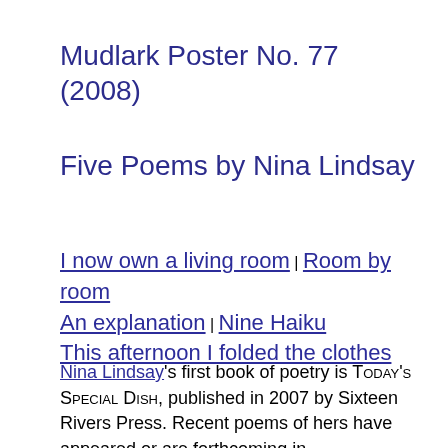Mudlark Poster No. 77 (2008)
Five Poems by Nina Lindsay
I now own a living room | Room by room An explanation | Nine Haiku This afternoon I folded the clothes
Nina Lindsay's first book of poetry is Today's Special Dish, published in 2007 by Sixteen Rivers Press. Recent poems of hers have appeared or are forthcoming in Ploughshares, Columbia Poetry Journal, Fence, Shenandoah, and Northwest Review. She was a recipient of a